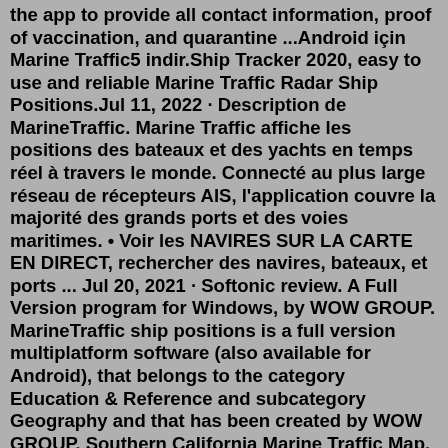the app to provide all contact information, proof of vaccination, and quarantine ...Android için Marine Traffic5 indir.Ship Tracker 2020, easy to use and reliable Marine Traffic Radar Ship Positions.Jul 11, 2022 · Description de MarineTraffic. Marine Traffic affiche les positions des bateaux et des yachts en temps réel à travers le monde. Connecté au plus large réseau de récepteurs AIS, l'application couvre la majorité des grands ports et des voies maritimes. • Voir les NAVIRES SUR LA CARTE EN DIRECT, rechercher des navires, bateaux, et ports ... Jul 20, 2021 · Softonic review. A Full Version program for Windows, by WOW GROUP. MarineTraffic ship positions is a full version multiplatform software (also available for Android), that belongs to the category Education & Reference and subcategory Geography and that has been created by WOW GROUP. Southern California Marine Traffic Map. San Pedro and the Port of Los Angeles along with Port of Long Beach form an extremely busy port. The combined Ports of Los Angeles and Long Beach handle over